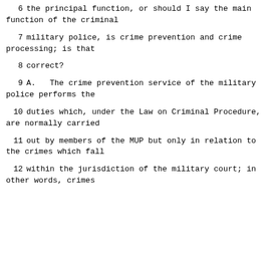6      the principal function, or should I say the main function of the criminal
7      military police, is crime prevention and crime processing; is that
8      correct?
9      A.    The crime prevention service of the military police performs the
10     duties which, under the Law on Criminal Procedure, are normally carried
11     out by members of the MUP but only in relation to the crimes which fall
12     within the jurisdiction of the military court; in other words, crimes